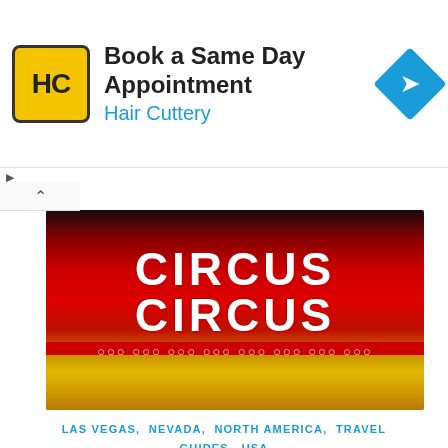[Figure (screenshot): Advertisement banner for Hair Cuttery - 'Book a Same Day Appointment' with Hair Cuttery logo (yellow background with HC initials) and blue navigation arrow icon]
[Figure (photo): Photo of Circus Circus Las Vegas neon sign, showing the iconic red and white illuminated marquee sign against a dark background]
LAS VEGAS, NEVADA, NORTH AMERICA, TRAVEL GUIDES, USA
FUN THINGS TO DO IN LAS VEGAS FOR FAMILIES (VEGAS HACKS)
Fun things to do in Las Vegas with kids – Las Vegas